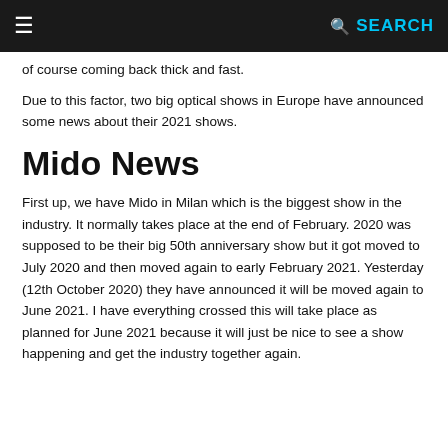≡   SEARCH
of course coming back thick and fast.
Due to this factor, two big optical shows in Europe have announced some news about their 2021 shows.
Mido News
First up, we have Mido in Milan which is the biggest show in the industry. It normally takes place at the end of February. 2020 was supposed to be their big 50th anniversary show but it got moved to July 2020 and then moved again to early February 2021. Yesterday (12th October 2020) they have announced it will be moved again to June 2021. I have everything crossed this will take place as planned for June 2021 because it will just be nice to see a show happening and get the industry together again.